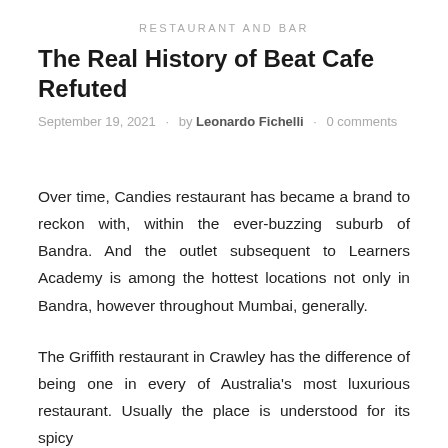RESTAURANT AND BAR
The Real History of Beat Cafe Refuted
September 19, 2021 · by Leonardo Fichelli · 0 comments
Over time, Candies restaurant has became a brand to reckon with, within the ever-buzzing suburb of Bandra. And the outlet subsequent to Learners Academy is among the hottest locations not only in Bandra, however throughout Mumbai, generally.
The Griffith restaurant in Crawley has the difference of being one in every of Australia's most luxurious restaurant. Usually the place is understood for its spicy